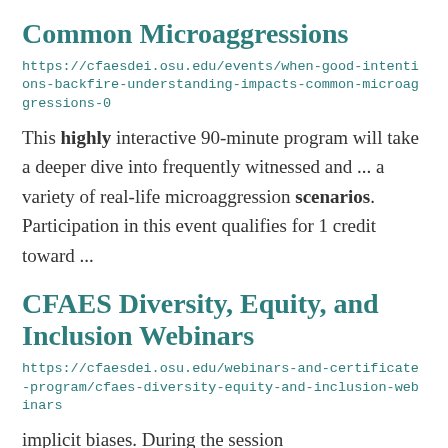Common Microaggressions
https://cfaesdei.osu.edu/events/when-good-intentions-backfire-understanding-impacts-common-microaggressions-0
This highly interactive 90-minute program will take a deeper dive into frequently witnessed and ... a variety of real-life microaggression scenarios. Participation in this event qualifies for 1 credit toward ...
CFAES Diversity, Equity, and Inclusion Webinars
https://cfaesdei.osu.edu/webinars-and-certificate-program/cfaes-diversity-equity-and-inclusion-webinars
implicit biases. During the session